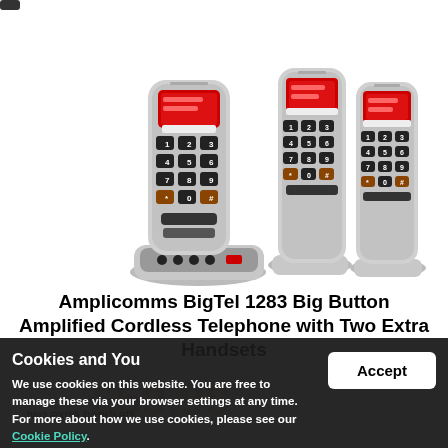[Figure (photo): Three silver Amplicomms BigTel 1283 cordless phones with large buttons and red display screens. The main unit on the left has a base with controls; the two additional handsets are shown to the right.]
Amplicomms BigTel 1283 Big Button Amplified Cordless Telephone with Two Extra Handsets
Cookies and You
We use cookies on this website. You are free to manage these via your browser settings at any time. For more about how we use cookies, please see our Cookie Policy.
...two extra handsets